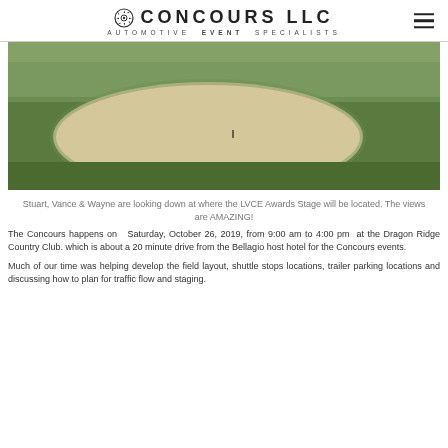CONCOURS LLC — AUTOMOTIVE EVENT SPECIALISTS
[Figure (photo): Aerial view of a golf course showing a sand bunker surrounded by green grass, with two people standing and looking down at the fairway area.]
Stuart, Vance & Wayne are looking down at where the LVCE Awards Stage will be located. The views are AMAZING!
The Concours happens on Saturday, October 26, 2019, from 9:00 am to 4:00 pm at the Dragon Ridge Country Club. which is about a 20 minute drive from the Bellagio host hotel for the Concours events.
Much of our time was helping develop the field layout, shuttle stops locations, trailer parking locations and discussing how to plan for traffic flow and staging.